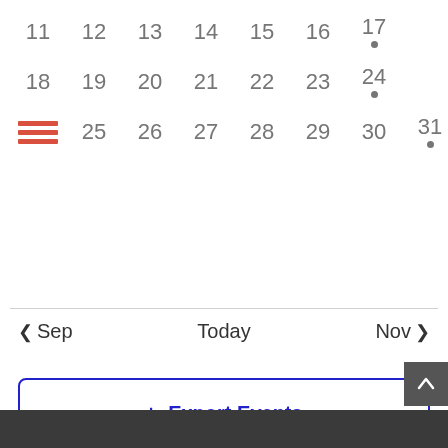[Figure (screenshot): Calendar view showing dates 11-31, with event dots on 17, 24, 31. Navigation buttons for Sep/Today/Nov. Export Events button. Scroll to top button. Dark footer bar.]